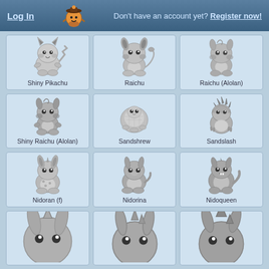Log In | Don't have an account yet? Register now!
[Figure (illustration): Grid of Pokemon illustrations in blue-grey style: Row 1: Shiny Pikachu, Raichu, Raichu (Alolan). Row 2: Shiny Raichu (Alolan), Sandshrew, Sandslash. Row 3: Nidoran (f), Nidorina, Nidoqueen. Row 4: partial views of three more Pokemon (Nidoran male variants).]